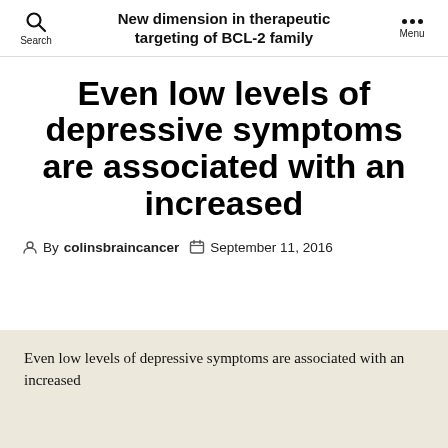New dimension in therapeutic targeting of BCL-2 family
Even low levels of depressive symptoms are associated with an increased
By colinsbraincancer   September 11, 2016
Even low levels of depressive symptoms are associated with an increased